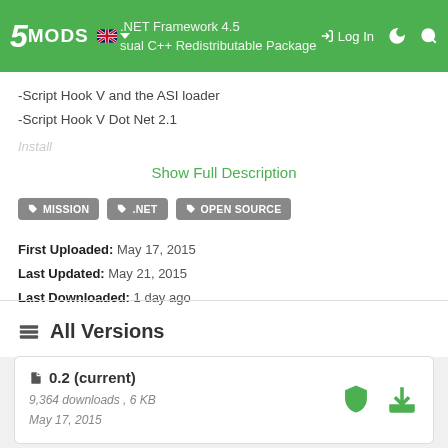5MODS — .NET Framework 4.5 / Visual C++ Redistributable Package — Log In
-Script Hook V and the ASI loader
-Script Hook V Dot Net 2.1
Install
Show Full Description
MISSION  .NET  OPEN SOURCE
First Uploaded: May 17, 2015
Last Updated: May 21, 2015
Last Downloaded: 1 day ago
All Versions
0.2 (current)
9,364 downloads , 6 KB
May 17, 2015